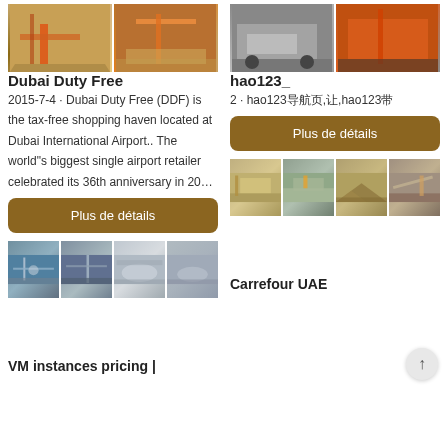[Figure (photo): Two construction/mining machinery images side by side - left shows orange equipment at a sandy site, right shows conveyor belt machinery]
Dubai Duty Free
2015-7-4 · Dubai Duty Free (DDF) is the tax-free shopping haven located at Dubai International Airport.. The world"s biggest single airport retailer celebrated its 36th anniversary in 20…
[Figure (photo): Two industrial crusher/truck images side by side - left shows a grey truck, right shows orange crushing equipment]
hao123_
2 · hao123导航页,让,hao123带
Plus de détails
Plus de détails
[Figure (photo): Four construction/crane/drum machinery images in a 2x2 grid]
VM instances pricing |
[Figure (photo): Four mining/quarry site images in a 2x2 grid]
Carrefour UAE